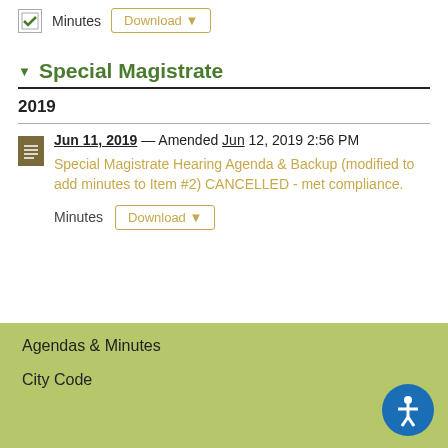Minutes  Download ▼
▼ Special Magistrate
2019
Jun 11, 2019 — Amended Jun 12, 2019 2:56 PM
Special Magistrate Hearing Agenda & Backup (modified to add minutes to Item #2) CANCELLED - met compliance.
Minutes  Download ▼
Agendas & Minutes
City Code